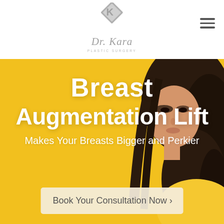[Figure (logo): Dr. Kara Plastic Surgery logo with diamond-shaped K graphic and cursive script text]
[Figure (photo): Hero banner with yellow background and a woman with dark hair. Text overlay reads 'Breast Augmentation Lift - Makes Your Breasts Bigger and Perkier' with a CTA button 'Book Your Consultation Now ›']
Breast Augmentation Lift
Makes Your Breasts Bigger and Perkier
Book Your Consultation Now ›